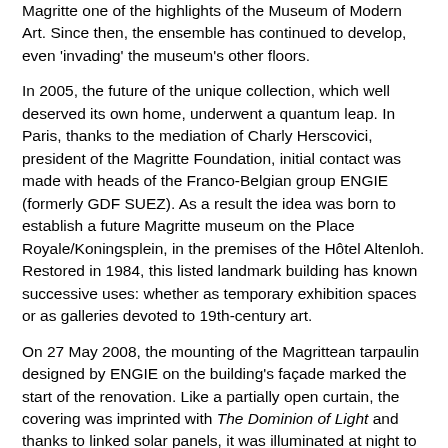Magritte one of the highlights of the Museum of Modern Art. Since then, the ensemble has continued to develop, even 'invading' the museum's other floors.
In 2005, the future of the unique collection, which well deserved its own home, underwent a quantum leap. In Paris, thanks to the mediation of Charly Herscovici, president of the Magritte Foundation, initial contact was made with heads of the Franco-Belgian group ENGIE (formerly GDF SUEZ). As a result the idea was born to establish a future Magritte museum on the Place Royale/Koningsplein, in the premises of the Hôtel Altenloh. Restored in 1984, this listed landmark building has known successive uses: whether as temporary exhibition spaces or as galleries devoted to 19th-century art.
On 27 May 2008, the mounting of the Magrittean tarpaulin designed by ENGIE on the building's façade marked the start of the renovation. Like a partially open curtain, the covering was imprinted with The Dominion of Light and thanks to linked solar panels, it was illuminated at night to grace Place Royale/Koningsplein. This very apt emblem of the future Magritte museum became an image that has had worldwide impact.